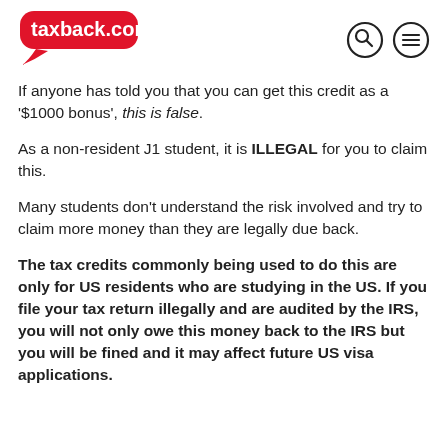taxback.com
If anyone has told you that you can get this credit as a '$1000 bonus', this is false.
As a non-resident J1 student, it is ILLEGAL for you to claim this.
Many students don't understand the risk involved and try to claim more money than they are legally due back.
The tax credits commonly being used to do this are only for US residents who are studying in the US. If you file your tax return illegally and are audited by the IRS, you will not only owe this money back to the IRS but you will be fined and it may affect future US visa applications.